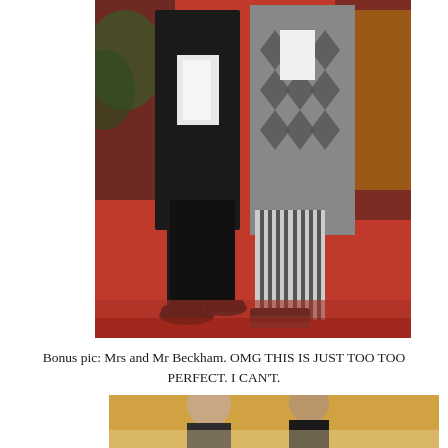[Figure (photo): Two men standing on a red carpet. Left figure wears a black tuxedo with a white shirt and black shoes. Right figure wears a patterned argyle coat with striped trousers and platform shoes. Other figures partially visible at edges.]
Bonus pic: Mrs and Mr Beckham. OMG THIS IS JUST TOO TOO PERFECT. I CAN'T.
[Figure (photo): Partial view of two people in an indoor setting with warm lighting, cropped at bottom of page.]